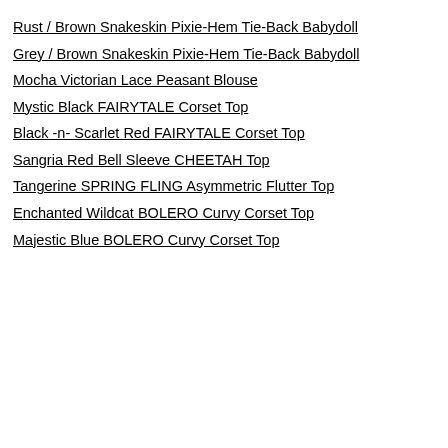Rust / Brown Snakeskin Pixie-Hem Tie-Back Babydoll
Grey / Brown Snakeskin Pixie-Hem Tie-Back Babydoll
Mocha Victorian Lace Peasant Blouse
Mystic Black FAIRYTALE Corset Top
Black -n- Scarlet Red FAIRYTALE Corset Top
Sangria Red Bell Sleeve CHEETAH Top
Tangerine SPRING FLING Asymmetric Flutter Top
Enchanted Wildcat BOLERO Curvy Corset Top
Majestic Blue BOLERO Curvy Corset Top